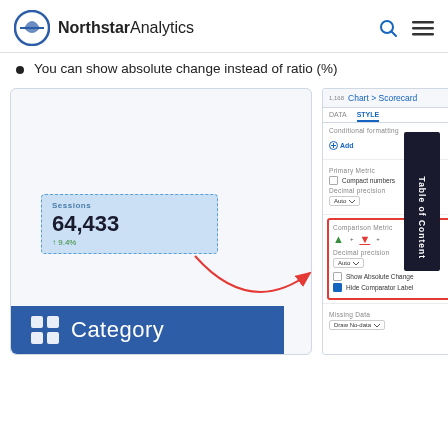NorthstarAnalytics
You can show absolute change instead of ratio (%)
[Figure (screenshot): Screenshot of NorthstarAnalytics dashboard showing a Scorecard chart with value 64,433 and +9.4% change. The right panel shows Chart > Scorecard settings with DATA and STYLE tabs. A red outlined section highlights Comparison Metric options including Show Absolute Change and Hide Comparator Label checkboxes, with an arrow pointing from the scorecard to the highlighted settings panel.]
Category